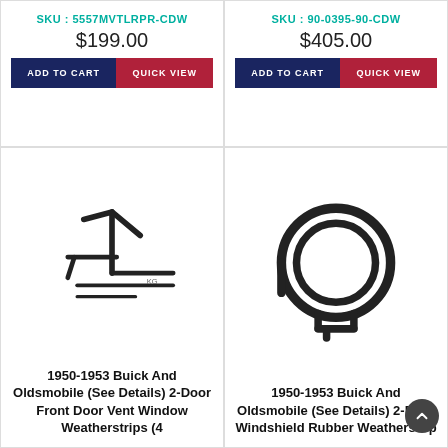SKU : 5557MVTLRPR-CDW
$199.00
ADD TO CART | QUICK VIEW
SKU : 90-0395-90-CDW
$405.00
ADD TO CART | QUICK VIEW
[Figure (illustration): Line drawing of 1950-1953 Buick And Oldsmobile 2-Door Front Door Vent Window Weatherstrips (4 pieces) - angular metal channel strips]
1950-1953 Buick And Oldsmobile (See Details) 2-Door Front Door Vent Window Weatherstrips (4
[Figure (illustration): Line drawing of 1950-1953 Buick And Oldsmobile 2-Door Windshield Rubber Weatherstrip - circular/loop shaped rubber seal]
1950-1953 Buick And Oldsmobile (See Details) 2-Door Windshield Rubber Weatherstrip